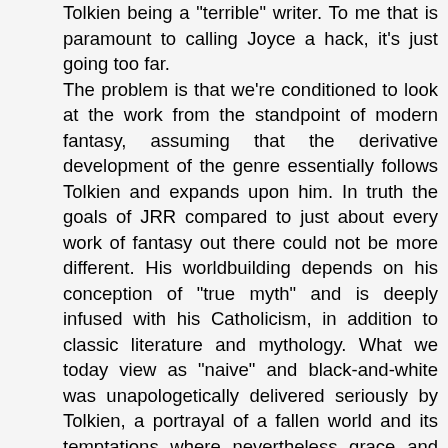Tolkien being a "terrible" writer. To me that is paramount to calling Joyce a hack, it's just going too far. The problem is that we're conditioned to look at the work from the standpoint of modern fantasy, assuming that the derivative development of the genre essentially follows Tolkien and expands upon him. In truth the goals of JRR compared to just about every work of fantasy out there could not be more different. His worldbuilding depends on his conception of "true myth" and is deeply infused with his Catholicism, in addition to classic literature and mythology. What we today view as "naive" and black-and-white was unapologetically delivered seriously by Tolkien, a portrayal of a fallen world and its temptations where nevertheless grace and humility overcome in the end. Its themes are obviously biblical and aspire to portray greater truths through the medium of myth, in contrast to mere "immersion" as the goal of the modern genre. I'd say Tolkien should be approached more like Arthurian legend than pulp